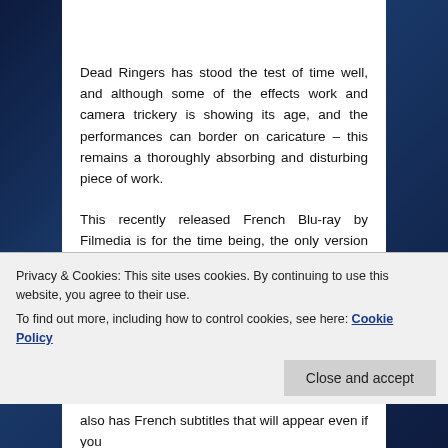Dead Ringers has stood the test of time well, and although some of the effects work and camera trickery is showing its age, and the performances can border on caricature – this remains a thoroughly absorbing and disturbing piece of work.
This recently released French Blu-ray by Filmedia is for the time being, the only version of the movie available in high-definition.   That being said I can confidently recommend this release as the picture quality is immediately impressive for a movie over twenty years old, with clarity, depth and detail obvious throughout.  Colours
Privacy & Cookies: This site uses cookies. By continuing to use this website, you agree to their use.
To find out more, including how to control cookies, see here: Cookie Policy
Close and accept
also has French subtitles that will appear even if you